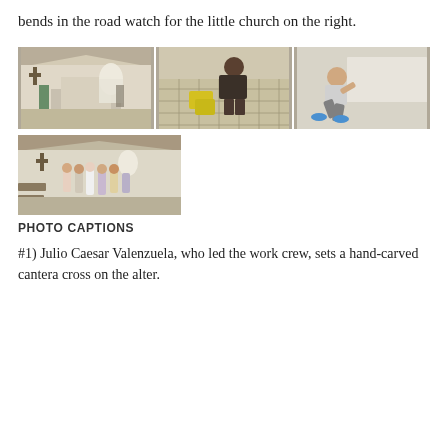bends in the road watch for the little church on the right.
[Figure (photo): Three side-by-side photos: left shows church interior with altar and cross; center shows a worker tiling a floor with yellow bags of material; right shows a person crouching and working on a white stone structure.]
[Figure (photo): Photo of a church interior with people standing in rows, a cross on the wall, and pews visible.]
PHOTO CAPTIONS
#1) Julio Caesar Valenzuela, who led the work crew, sets a hand-carved cantera cross on the alter.